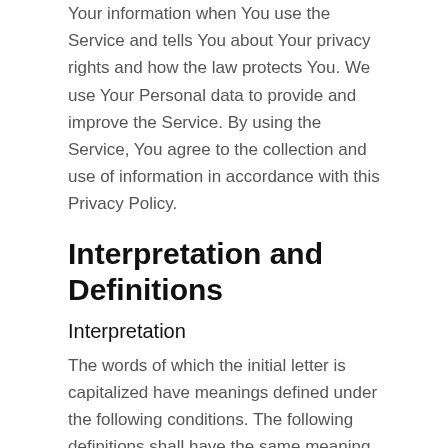Your information when You use the Service and tells You about Your privacy rights and how the law protects You. We use Your Personal data to provide and improve the Service. By using the Service, You agree to the collection and use of information in accordance with this Privacy Policy.
Interpretation and Definitions
Interpretation
The words of which the initial letter is capitalized have meanings defined under the following conditions. The following definitions shall have the same meaning regardless of whether they appear in singular or in plural.
Definitions